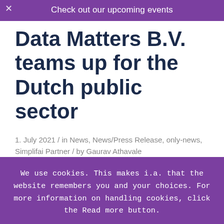Check out our upcoming events
Data Matters B.V. teams up for the Dutch public sector
1. July 2021 / in News, News/Press Release, only-news, Simplifai Partner / by Gaurav Athavale
We use cookies. This makes i.a. that the website remembers you and your choices. For more information on handling cookies, click the Read more button.